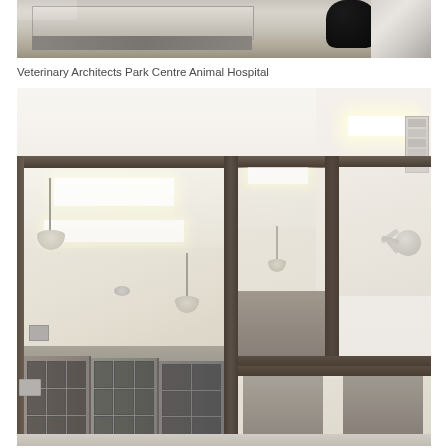[Figure (photo): Interior photo of veterinary hospital showing stainless steel tray/table surface and equipment, cropped at top portion]
Veterinary Architects Park Centre Animal Hospital
[Figure (photo): Interior photo of veterinary animal hospital showing large glass panel windows with dark aluminum frames, white ceiling with recessed lighting, pendant lights reflected in glass, security camera on upper right wall, and animal kennels/cages visible through the glass in the lower portion of the image]